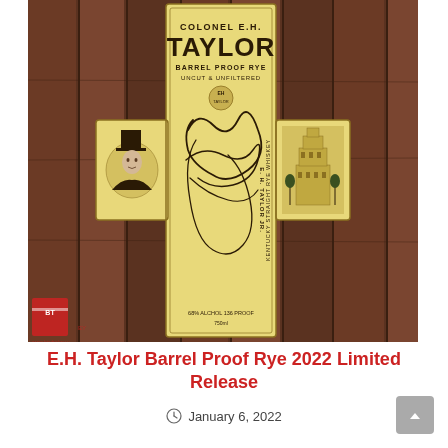[Figure (photo): Photo of Colonel E.H. Taylor Barrel Proof Rye whiskey bottle label laid flat on a dark wood surface. The label has a cross/plus shape in cream/yellow color with 'COLONEL E.H. TAYLOR' printed at top, 'BARREL PROOF RYE UNCUT & UNFILTERED' below, a portrait of a man in a top hat on the left side panel, a cursive signature in the center, a building illustration on the right side panel, and text reading 'E.H. TAYLOR JR.' vertically. A watermark/logo is visible in the bottom left corner.]
E.H. Taylor Barrel Proof Rye 2022 Limited Release
January 6, 2022